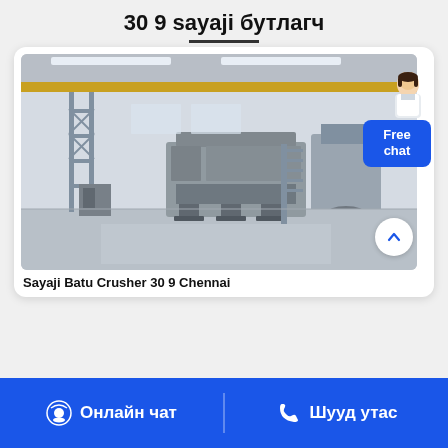30 9 sayaji бутлагч
[Figure (photo): Interior of an industrial factory/warehouse showing a large gray jaw crusher machine (Sayaji Batu Crusher 30 9) on a polished concrete floor, with overhead crane beams, steel scaffolding structure on the left, and industrial lighting in the ceiling. There is a 'Free chat' button overlay and a scroll-up arrow button visible.]
Sayaji Batu Crusher 30 9 Chennai